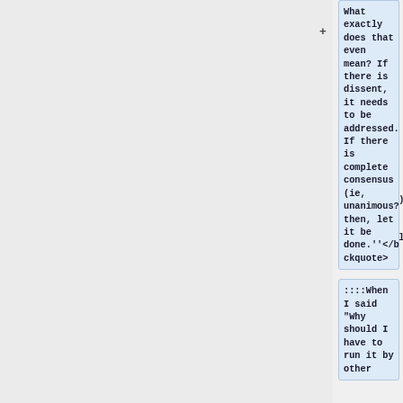What exactly does that even mean? If there is dissent, it needs to be addressed. If there is complete consensus (ie, unanimous?) then, let it be done.''</blockquote>
::::When I said "Why should I have to run it by other